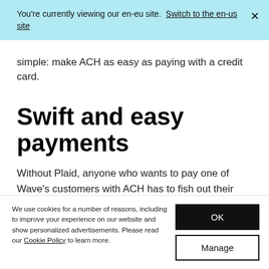You're currently viewing our en-eu site. Switch to the en-us site ×
simple: make ACH as easy as paying with a credit card.
Swift and easy payments
Without Plaid, anyone who wants to pay one of Wave's customers with ACH has to fish out their checkbooks and manually enter account and routing numbers. It's a clunky experience that often results in failed payments.
We use cookies for a number of reasons, including to improve your experience on our website and show personalized advertisements. Please read our Cookie Policy to learn more.